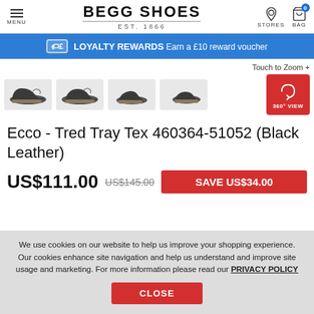BEGG SHOES EST. 1866
LOYALTY REWARDS Earn a £10 reward voucher
Touch to Zoom +
[Figure (photo): Four thumbnail views of the Ecco Tred Tray Tex shoe in black leather, plus a 360° VIEW button]
Ecco - Tred Tray Tex 460364-51052 (Black Leather)
US$111.00  US$145.00  SAVE US$34.00
We use cookies on our website to help us improve your shopping experience. Our cookies enhance site navigation and help us understand and improve site usage and marketing. For more information please read our PRIVACY POLICY
CLOSE